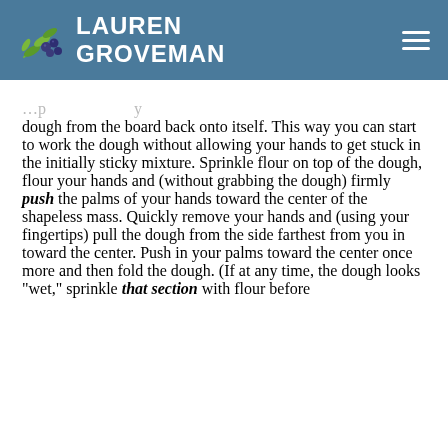Lauren Groveman
dough from the board back onto itself. This way you can start to work the dough without allowing your hands to get stuck in the initially sticky mixture. Sprinkle flour on top of the dough, flour your hands and (without grabbing the dough) firmly push the palms of your hands toward the center of the shapeless mass. Quickly remove your hands and (using your fingertips) pull the dough from the side farthest from you in toward the center. Push in your palms toward the center once more and then fold the dough. (If at any time, the dough looks "wet," sprinkle that section with flour before